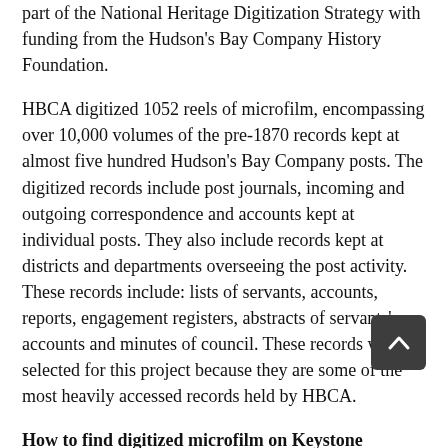part of the National Heritage Digitization Strategy with funding from the Hudson's Bay Company History Foundation.
HBCA digitized 1052 reels of microfilm, encompassing over 10,000 volumes of the pre-1870 records kept at almost five hundred Hudson's Bay Company posts. The digitized records include post journals, incoming and outgoing correspondence and accounts kept at individual posts. They also include records kept at districts and departments overseeing the post activity. These records include: lists of servants, accounts, reports, engagement registers, abstracts of servants' accounts and minutes of council. These records were selected for this project because they are some of the most heavily accessed records held by HBCA.
How to find digitized microfilm on Keystone
Most researchers will find the digital files in the